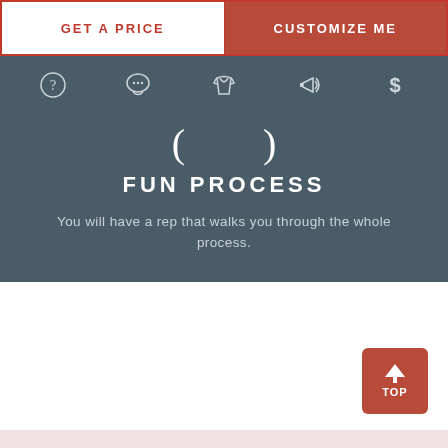[Figure (screenshot): Navigation button bar with GET A PRICE (white/red outline) and CUSTOMIZE ME (dark red) buttons side by side]
[Figure (infographic): Icon navigation bar with five icons: question mark, speech bubble, t-shirt, megaphone, dollar sign on dark slate background]
FUN PROCESS
You will have a rep that walks you through the whole process.
[Figure (infographic): Back to top button (red square with upward arrow and TOP text) in lower right area]
[Figure (photo): Partial photo of branches with soft pink/white bokeh background at bottom of page]